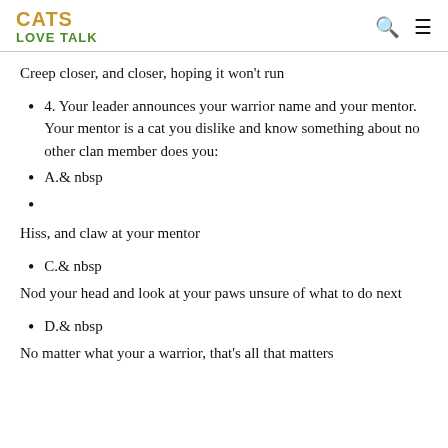CATS LOVE TALK
Creep closer, and closer, hoping it won't run
4. Your leader announces your warrior name and your mentor. Your mentor is a cat you dislike and know something about no other clan member does you:
A.& nbsp
Hiss, and claw at your mentor
C.& nbsp
Nod your head and look at your paws unsure of what to do next
D.& nbsp
No matter what your a warrior, that's all that matters